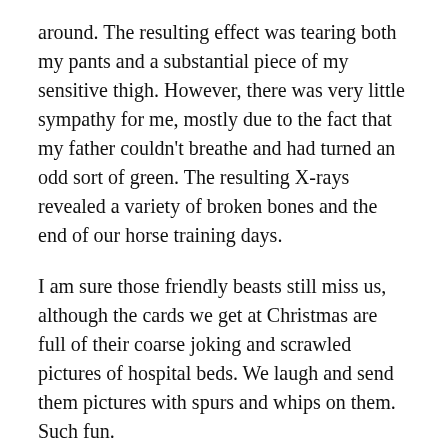around. The resulting effect was tearing both my pants and a substantial piece of my sensitive thigh. However, there was very little sympathy for me, mostly due to the fact that my father couldn't breathe and had turned an odd sort of green. The resulting X-rays revealed a variety of broken bones and the end of our horse training days.
I am sure those friendly beasts still miss us, although the cards we get at Christmas are full of their coarse joking and scrawled pictures of hospital beds. We laugh and send them pictures with spurs and whips on them. Such fun.
I wouldn't be truthful, however, if I didn't confess that the whole experience left me rather disappointed. It just doesn't seem fair that my father received all the attention at the hospital and during his recovery.